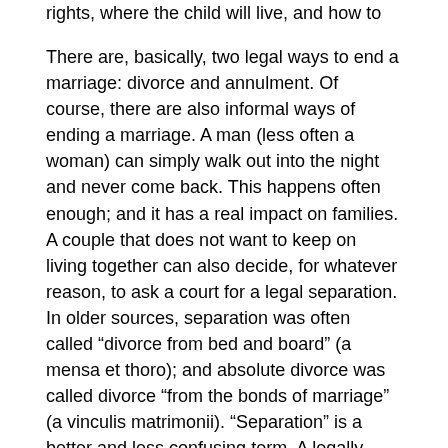rights, where the child will live, and how to resolve conflicts.
There are, basically, two legal ways to end a marriage: divorce and annulment. Of course, there are also informal ways of ending a marriage. A man (less often a woman) can simply walk out into the night and never come back. This happens often enough; and it has a real impact on families. A couple that does not want to keep on living together can also decide, for whatever reason, to ask a court for a legal separation. In older sources, separation was often called “divorce from bed and board” (a mensa et thoro); and absolute divorce was called divorce “from the bonds of marriage” (a vinculis matrimonii). “Separation” is a better and less confusing term. A legally separated couple will live apart, still officially married, but often with the same kinds of arrangements a divorced couple might have, about custody, property division, and support for the dependent spouse.
Some couples separate, as a kind of prelude to divorce. They execute a separation agreement, to be incorporated into later divorce proceedings. Legal separation and annulment are substitutes for divorce— one quite feeble, the other quite powerful. Legal separations keep a thin version of a marriage alive. Annulments are hard to get (in theory). But if a marriage is annulled, both parties can remarry; indeed, this is usually the